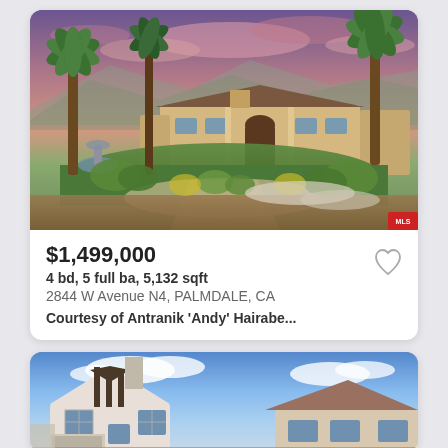[Figure (photo): Exterior photo of a Mediterranean-style single-story home with palm trees, lush landscaping, fountain, and a purple/pink sunset sky. Located at 2844 W Avenue N4, Palmdale, CA.]
$1,499,000
4 bd, 5 full ba, 5,132 sqft
2844 W Avenue N4, PALMDALE, CA
Courtesy of Antranik 'Andy' Hairabe...
[Figure (photo): Exterior photo of a two-story suburban home with white siding, gabled roof, chimney, and blue sky with white clouds.]